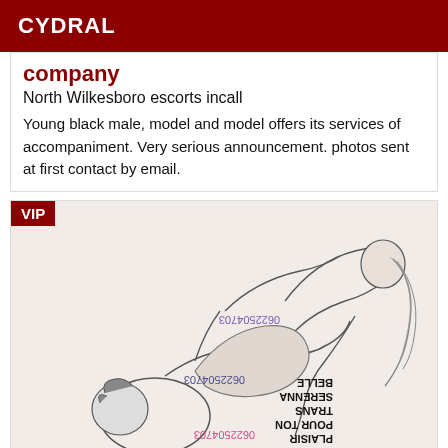CYDRAL
company
North Wilkesboro escorts incall
Young black male, model and model offers its services of accompaniment. Very serious announcement. photos sent at first contact by email.
[Figure (illustration): Drawing of two figures with watermark text '0622504703' repeated, and text 'BELLE SERENNA TRANS POUR TON PLAISIR' overlaid. VIP badge in top-left corner.]